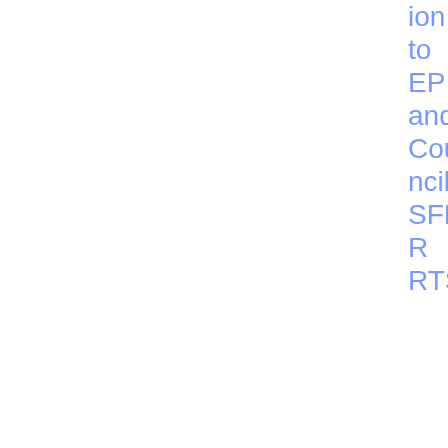ion to EP and Council-SFDR RTS
| Date | Type | Title | Tags | File |
| --- | --- | --- | --- | --- |
| 26/07/2021 | EC letter Q&Ss | Letter from the EU Commission to ESA JC-Q&A | Joint Committee; Sustainable finance | PDF 199.38 KB |